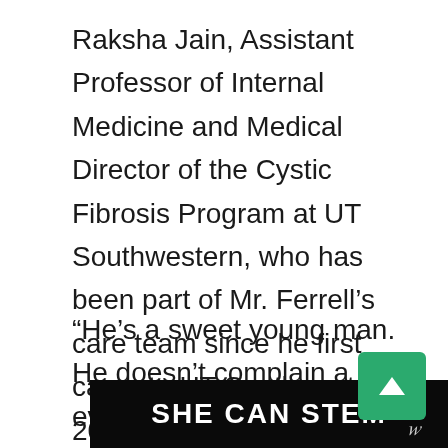Raksha Jain, Assistant Professor of Internal Medicine and Medical Director of the Cystic Fibrosis Program at UT Southwestern, who has been part of Mr. Ferrell’s care team since he first came to UT Southwestern in 2013.
“He’s a sweet young man. He doesn’t complain a lot, even though he’s had his share of rough times and lengthy hospital stays. He understands his disease and
[Figure (other): Dark banner overlay with bold white text reading SHE CAN STEM, partially covering the bottom of the page]